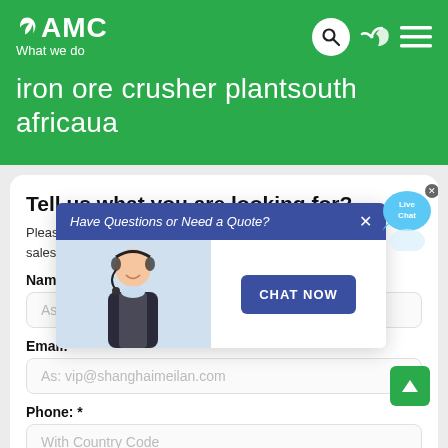AMC What we do
iron ore crusher plantsouth africaua
Tell us what you are looking for?
Please complete and submit the following form and our sales team will contact you shortly with our best prices.
[Figure (screenshot): Live chat popup with banner 'Have Questions or Need a Quote?' and a CHAT NOW button, overlaid on the form. A 'Live Chat' speech bubble icon appears top right.]
Name: *
As: Tom
Email: *
As: vip@shanghaimeilan.com
Phone: *
With Country Code